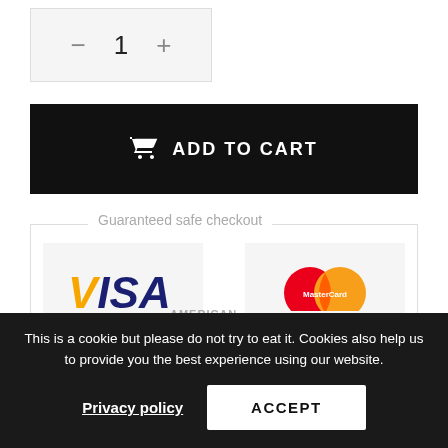[Figure (other): Quantity selector showing minus button, 1, plus button in a grey box]
[Figure (other): Black Add to Cart button with shopping bag icon and text ADD TO CART]
Guaranteed safe checkout
[Figure (logo): VISA payment logo in blue and yellow]
[Figure (logo): MasterCard logo with overlapping red and orange circles]
[Figure (logo): PayPal logo in blue]
[Figure (logo): Klarna logo in black text]
This is a cookie but please do not try to eat it. Cookies also help us to provide you the best experience using our website.
Privacy policy
ACCEPT